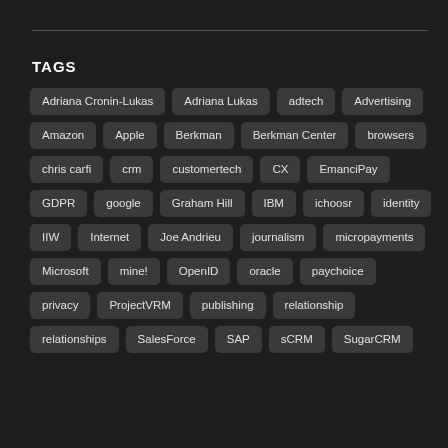TAGS
Adriana Cronin-Lukas
Adriana Lukas
adtech
Advertising
Amazon
Apple
Berkman
Berkman Center
browsers
chris carfi
crm
customertech
CX
EmanciPay
GDPR
google
Graham Hill
IBM
ichoosr
identity
IIW
Internet
Joe Andrieu
journalism
micropayments
Microsoft
mine!
OpenID
oracle
paychoice
privacy
ProjectVRM
publishing
relationship
relationships
SalesForce
SAP
sCRM
SugarCRM